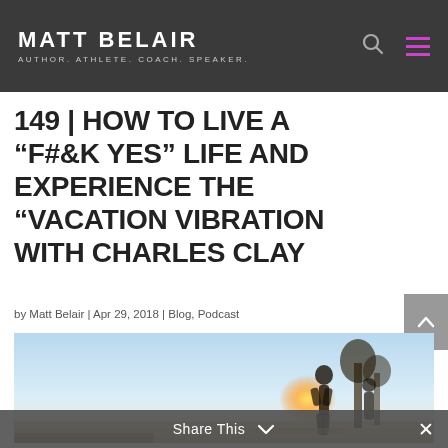MATT BELAIR — AUTHOR. ATHLETE. COACH. SPEAKER.
149 | HOW TO LIVE A "F#&K YES" LIFE AND EXPERIENCE THE "VACATION VIBRATION WITH CHARLES CLAY
by Matt Belair | Apr 29, 2018 | Blog, Podcast
[Figure (photo): Silhouette of a person against a bright sunset/sunrise on a beach, with warm glowing light in the background.]
Share This